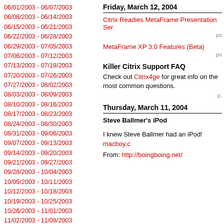06/01/2003 - 06/07/2003
06/08/2003 - 06/14/2003
06/15/2003 - 06/21/2003
06/22/2003 - 06/28/2003
06/29/2003 - 07/05/2003
07/06/2003 - 07/12/2003
07/13/2003 - 07/19/2003
07/20/2003 - 07/26/2003
07/27/2003 - 08/02/2003
08/03/2003 - 08/09/2003
08/10/2003 - 08/16/2003
08/17/2003 - 08/23/2003
08/24/2003 - 08/30/2003
08/31/2003 - 09/06/2003
09/07/2003 - 09/13/2003
09/14/2003 - 09/20/2003
09/21/2003 - 09/27/2003
09/28/2003 - 10/04/2003
10/05/2003 - 10/11/2003
10/12/2003 - 10/18/2003
10/19/2003 - 10/25/2003
10/26/2003 - 11/01/2003
11/02/2003 - 11/08/2003
11/09/2003 - 11/15/2003
11/16/2003 - 11/22/2003
11/23/2003 - 11/29/2003
11/30/2003 - 12/06/2003
12/07/2003 - 12/13/2003
12/14/2003 - 12/20/2003
12/21/2003 - 12/27/2003
01/04/2004 - 01/10/2004
01/11/2004 - 01/17/2004
Friday, March 12, 2004
Citrix Readies MetaFrame Presentation Ser
posted
MetaFrame XP 3.0 Features (Beta)
posted
Killer Citrix Support FAQ
Check out Citrix4ge for great info on the most common questions.
posted
Thursday, March 11, 2004
Steve Ballmer's iPod
I knew Steve Ballmer had an iPod! macboy.c
From: http://boingboing.net/